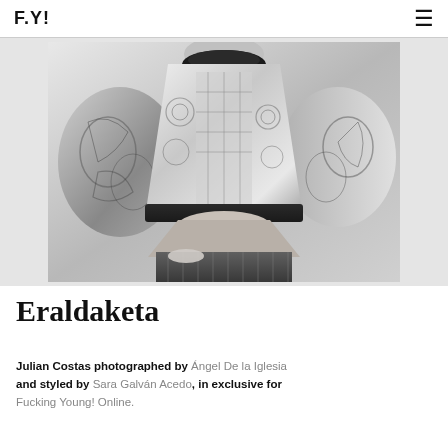F.Y!
[Figure (photo): Black and white fashion photograph of Julian Costas wearing a patterned crop sweater with ornate floral/geometric knit design, cropped to show midriff, with pinstripe trousers visible at the bottom. Shot from neck down against a light background.]
Eraldaketa
Julian Costas photographed by Ángel De la Iglesia and styled by Sara Galván Acedo, in exclusive for Fucking Young! Online.